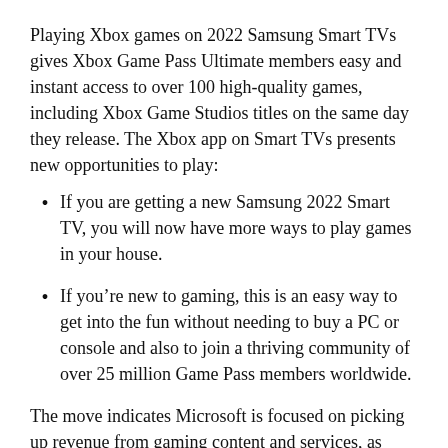Playing Xbox games on 2022 Samsung Smart TVs gives Xbox Game Pass Ultimate members easy and instant access to over 100 high-quality games, including Xbox Game Studios titles on the same day they release. The Xbox app on Smart TVs presents new opportunities to play:
If you are getting a new Samsung 2022 Smart TV, you will now have more ways to play games in your house.
If you’re new to gaming, this is an easy way to get into the fun without needing to buy a PC or console and also to join a thriving community of over 25 million Game Pass members worldwide.
The move indicates Microsoft is focused on picking up revenue from gaming content and services, as opposed to just consoles, where the company is lagging behind